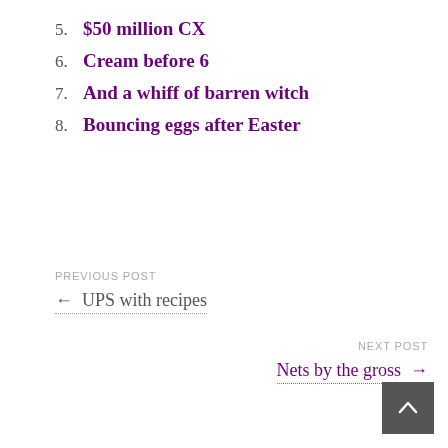5. $50 million CX
6. Cream before 6
7. And a whiff of barren witch
8. Bouncing eggs after Easter
PREVIOUS POST
← UPS with recipes
NEXT POST
Nets by the gross →